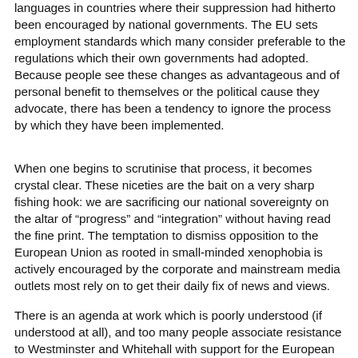languages in countries where their suppression had hitherto been encouraged by national governments. The EU sets employment standards which many consider preferable to the regulations which their own governments had adopted. Because people see these changes as advantageous and of personal benefit to themselves or the political cause they advocate, there has been a tendency to ignore the process by which they have been implemented.
When one begins to scrutinise that process, it becomes crystal clear. These niceties are the bait on a very sharp fishing hook: we are sacrificing our national sovereignty on the altar of “progress” and “integration” without having read the fine print. The temptation to dismiss opposition to the European Union as rooted in small-minded xenophobia is actively encouraged by the corporate and mainstream media outlets most rely on to get their daily fix of news and views.
There is an agenda at work which is poorly understood (if understood at all), and too many people associate resistance to Westminster and Whitehall with support for the European